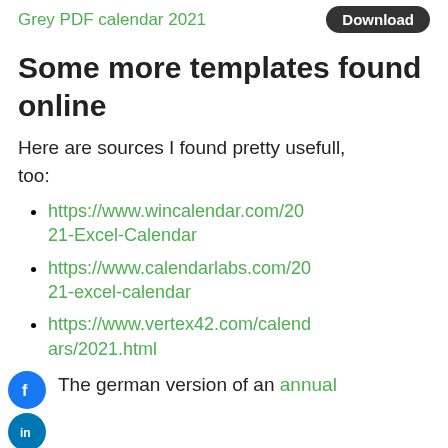Grey PDF calendar 2021  Download
Some more templates found online
Here are sources I found pretty usefull, too:
https://www.wincalendar.com/2021-Excel-Calendar
https://www.calendarlabs.com/2021-excel-calendar
https://www.vertex42.com/calendars/2021.html
The german version of an annual